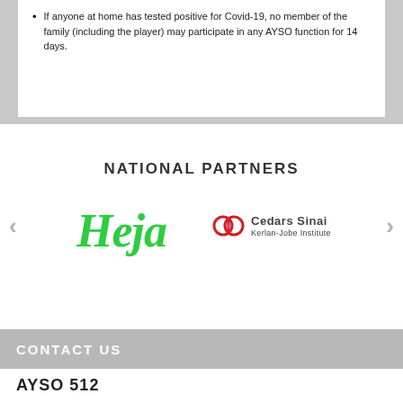If anyone at home has tested positive for Covid-19, no member of the family (including the player) may participate in any AYSO function for 14 days.
NATIONAL PARTNERS
[Figure (logo): Heja green italic script logo and Cedars Sinai Kerlan-Jobe Institute logo side by side, with left and right navigation arrows]
CONTACT US
AYSO 512